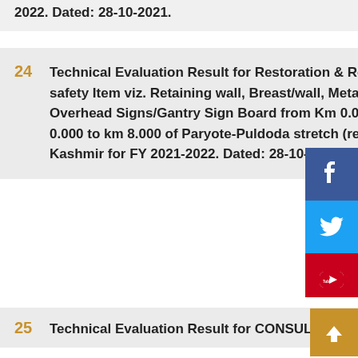2022. Dated: 28-10-2021.
24   Technical Evaluation Result for Restoration & Repair by way installing and construction of Road safety Item viz. Retaining wall, Breast/wall, Metallic Crash Barrier, Retroreflective Sign Board, Overhead Signs/Gantry Sign Board from Km 0.000 to Km 45.00 on Batote- Khellani stretch and km 0.000 to km 8.000 of Paryote-Puldoda stretch (re-alignment portion) on NH244 in the UT of Jammu & Kashmir for FY 2021-2022. Dated: 28-10-2021.
25   Technical Evaluation Result for CONSULTANCY SERVICES AS